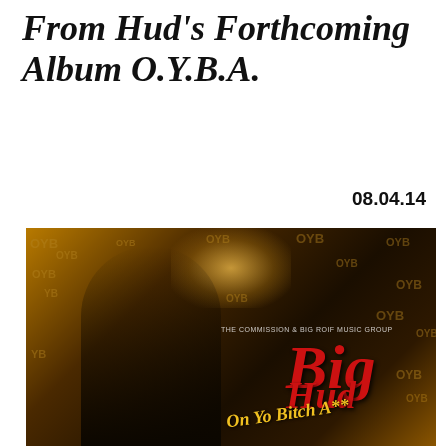From Hud's Forthcoming Album O.Y.B.A.
08.04.14
[Figure (photo): Album art for Big Hud's O.Y.B.A. featuring two male figures against a golden glowing background with repeated OYB watermark text, red lettering reading 'Big Hud On Yo Bitch A**' and text 'The Commission & Big Roif Music Group'. A cookie consent overlay reads 'Our site uses cookies to ensure you have the best user experience possible. By clicking accept, you agree to our use of cookies. Peace!' with an OK button and reCAPTCHA badge.]